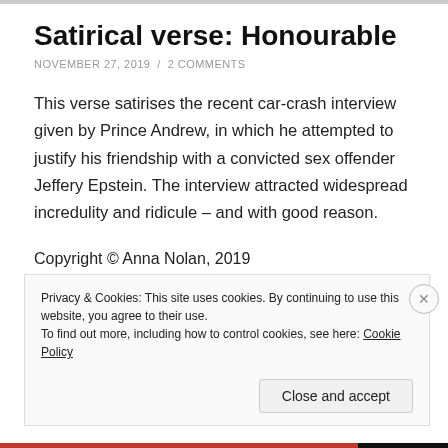Satirical verse: Honourable
NOVEMBER 27, 2019 / 2 COMMENTS
This verse satirises the recent car-crash interview given by Prince Andrew, in which he attempted to justify his friendship with a convicted sex offender Jeffery Epstein. The interview attracted widespread incredulity and ridicule – and with good reason.
Copyright © Anna Nolan, 2019
Privacy & Cookies: This site uses cookies. By continuing to use this website, you agree to their use.
To find out more, including how to control cookies, see here: Cookie Policy
Close and accept